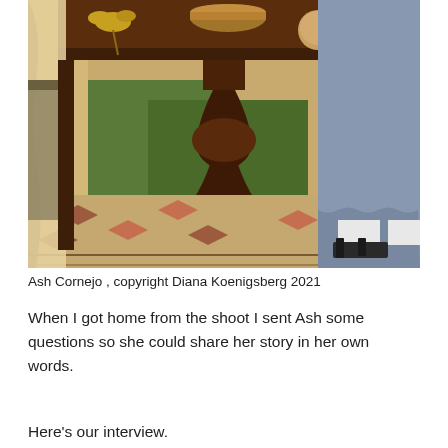[Figure (photo): A wooden pedestal table with items on top including a wicker basket, dried yellow flowers, a ball of twine, small bottles, and a patterned mug. A person wearing a blue/grey dress, white socks, and black Birkenstock sandals stands beside the table. A patterned rug is on the floor underneath. Green plants are visible in the background.]
Ash Cornejo , copyright Diana Koenigsberg 2021
When I got home from the shoot I sent Ash some questions so she could share her story in her own words.
Here's our interview.